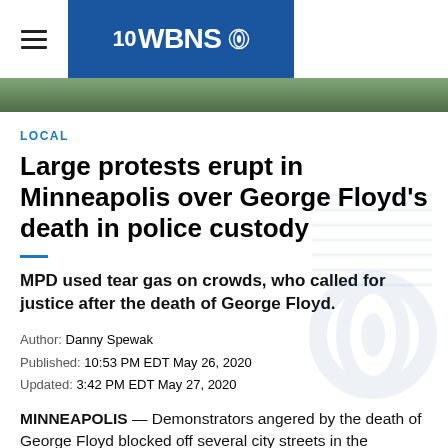10WBNS CBS
[Figure (photo): Partial photo strip showing green background, likely outdoor scene]
LOCAL
Large protests erupt in Minneapolis over George Floyd's death in police custody
MPD used tear gas on crowds, who called for justice after the death of George Floyd.
Author: Danny Spewak
Published: 10:53 PM EDT May 26, 2020
Updated: 3:42 PM EDT May 27, 2020
MINNEAPOLIS — Demonstrators angered by the death of George Floyd blocked off several city streets in the